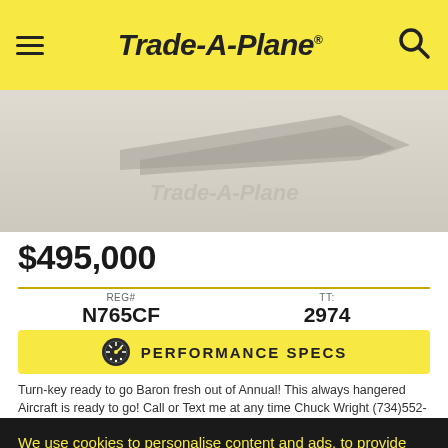Trade-A-Plane
[Figure (photo): Aircraft image placeholder with Trade-A-Plane watermark, light gray/beige background showing top of plane wing]
$495,000
| REG# | TT: |
| --- | --- |
| N765CF | 2974 |
PERFORMANCE SPECS
Turn-key ready to go Baron fresh out of Annual! This always hangered Aircraft is ready to go! Call or Text me at any time Chuck Wright (734)552-1492 More Info
We use cookies to personalise content and ads, to provide social media features and to analyse our traffic. We also share information about your use of our site with our social media, advertising and analytics partners.